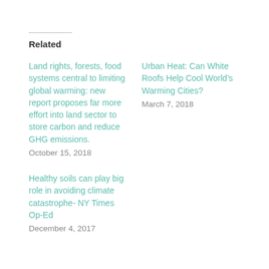Related
Land rights, forests, food systems central to limiting global warming: new report proposes far more effort into land sector to store carbon and reduce GHG emissions.
October 15, 2018
Urban Heat: Can White Roofs Help Cool World's Warming Cities?
March 7, 2018
Healthy soils can play big role in avoiding climate catastrophe- NY Times Op-Ed
December 4, 2017